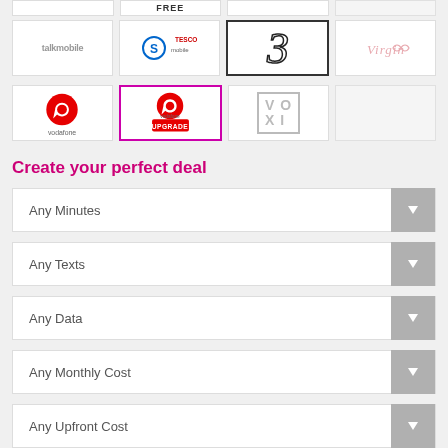[Figure (logo): Top partial row showing: empty cell, FREE label cell, empty cell, empty cell]
[Figure (logo): Second row: talkmobile logo, Tesco Mobile logo, Three (3) logo, Virgin Mobile logo]
[Figure (logo): Third row: Vodafone logo, Vodafone Upgrade logo (highlighted in pink border), VOXI logo]
Create your perfect deal
Any Minutes
Any Texts
Any Data
Any Monthly Cost
Any Upfront Cost
Any Contract Length